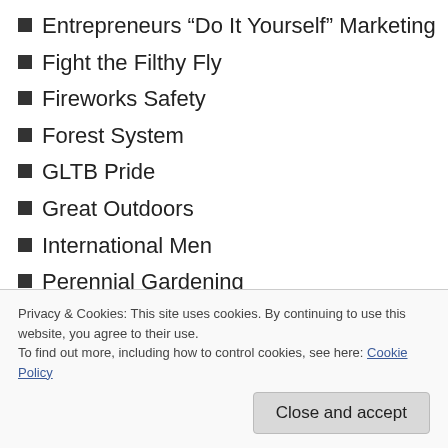Entrepreneurs “Do It Yourself” Marketing
Fight the Filthy Fly
Fireworks Safety
Forest System
GLTB Pride
Great Outdoors
International Men
Perennial Gardening
Potty Training Awareness
Rebuild Your Life
Rivers
Privacy & Cookies: This site uses cookies. By continuing to use this website, you agree to their use.
To find out more, including how to control cookies, see here: Cookie Policy
Sports America Kids